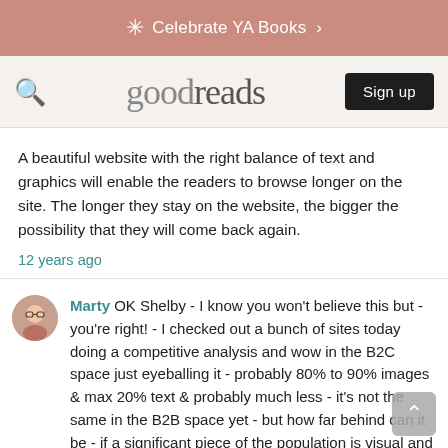Celebrate YA Books >
[Figure (logo): Goodreads logo with search icon and Sign up button]
A beautiful website with the right balance of text and graphics will enable the readers to browse longer on the site. The longer they stay on the website, the bigger the possibility that they will come back again.
12 years ago
Marty OK Shelby - I know you won't believe this but - you're right! - I checked out a bunch of sites today doing a competitive analysis and wow in the B2C space just eyeballing it - probably 80% to 90% images & max 20% text & probably much less - it's not the same in the B2B space yet - but how far behind can it be - if a significant piece of the population is visual and most people are no longer on a dial-up connection - images will become a big part of everyone's websites - In the B2B and lead generation sites it can be a bit of a challenge - what do attorneys or accountants do? For web designers - they can use samples of their work - but what does an SEO firm do? or in success - how many